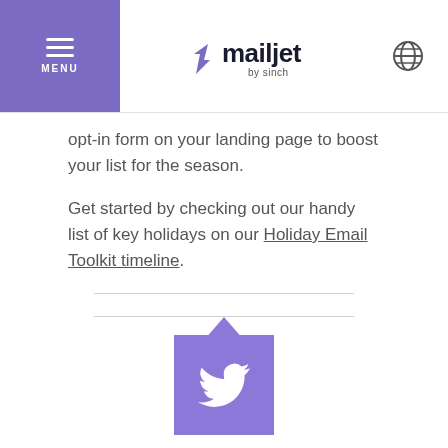MENU | mailjet by sinch
opt-in form on your landing page to boost your list for the season.
Get started by checking out our handy list of key holidays on our Holiday Email Toolkit timeline.
[Figure (illustration): Twitter bird icon in a purple square with a purple arrow/notch on top, with two horizontal divider lines above it]
Controlling your speed
Just as a really fast drop speed in Tetris turns most average